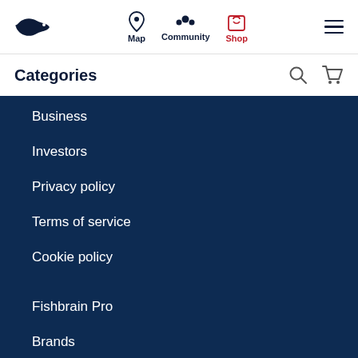Fishbrain logo header with Map, Community, Shop navigation and hamburger menu
Categories
Business
Investors
Privacy policy
Terms of service
Cookie policy
Fishbrain Pro
Brands
Blog